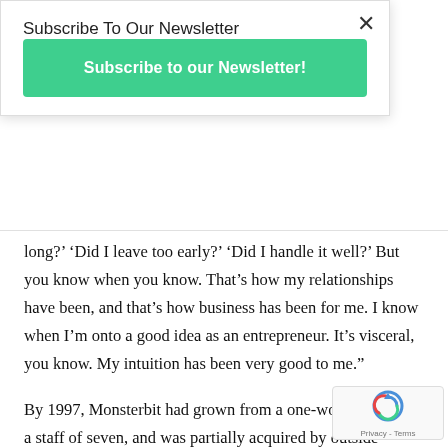Subscribe To Our Newsletter
Subscribe to our Newsletter!
long?' ‘Did I leave too early?’ ‘Did I handle it well?’ But you know when you know. That’s how my relationships have been, and that’s how business has been for me. I know when I’m onto a good idea as an entrepreneur. It’s visceral, you know. My intuition has been very good to me.”
By 1997, Monsterbit had grown from a one-woman band to a staff of seven, and was partially acquired by outside software company Human Code. Price went on to become senior vice president at Human Code, which was subsequently acquired by Sapient Corporation three years later. Price accepted a job at Sapient handling business-to-business web development, b…